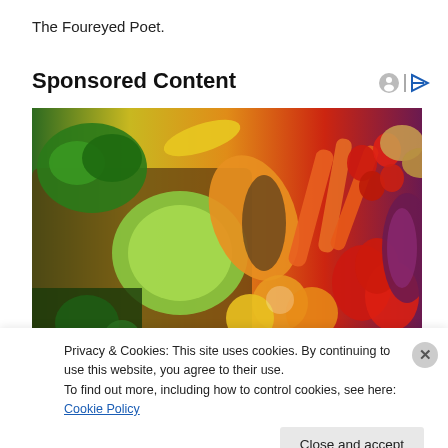The Foureyed Poet.
Sponsored Content
[Figure (photo): A colorful arrangement of fresh fruits and vegetables including broccoli, cabbage, lettuce, peppers, carrots, strawberries, oranges, lemons, papaya, red cabbage, and potatoes arranged in a rainbow-like spread.]
Privacy & Cookies: This site uses cookies. By continuing to use this website, you agree to their use.
To find out more, including how to control cookies, see here: Cookie Policy
Close and accept